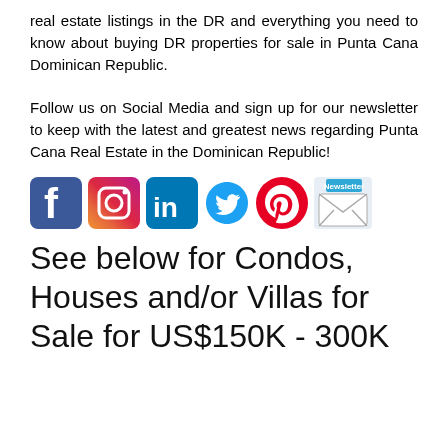real estate listings in the DR and everything you need to know about buying DR properties for sale in Punta Cana Dominican Republic.
Follow us on Social Media and sign up for our newsletter to keep with the latest and greatest news regarding Punta Cana Real Estate in the Dominican Republic!
[Figure (illustration): Social media icons row: Facebook, Instagram, LinkedIn, Twitter, Pinterest, Newsletter/Email]
See below for Condos, Houses and/or Villas for Sale for US$150K - 300K